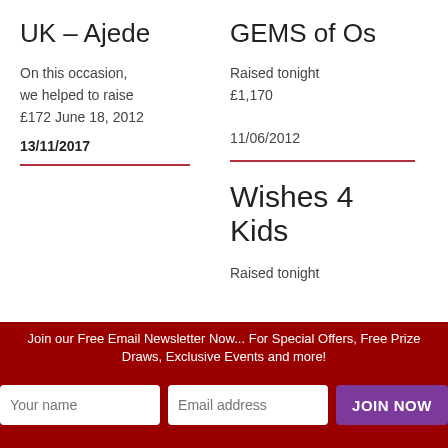UK – Ajede
On this occasion, we helped to raise £172 June 18, 2012
13/11/2017
GEMS of Os
Raised tonight £1,170
11/06/2012
Wishes 4 Kids
Raised tonight
Join our Free Email Newsletter Now... For Special Offers, Free Prize Draws, Exclusive Events and more!